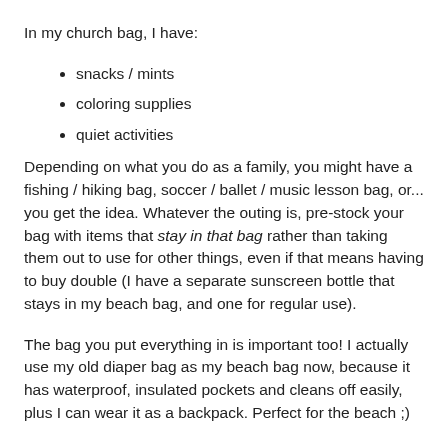In my church bag, I have:
snacks / mints
coloring supplies
quiet activities
Depending on what you do as a family, you might have a fishing / hiking bag, soccer / ballet / music lesson bag, or... you get the idea. Whatever the outing is, pre-stock your bag with items that stay in that bag rather than taking them out to use for other things, even if that means having to buy double (I have a separate sunscreen bottle that stays in my beach bag, and one for regular use).
The bag you put everything in is important too! I actually use my old diaper bag as my beach bag now, because it has waterproof, insulated pockets and cleans off easily, plus I can wear it as a backpack. Perfect for the beach ;)
I love being able to just grab and go for those regular outings rather than hunting around and packing a bag every single